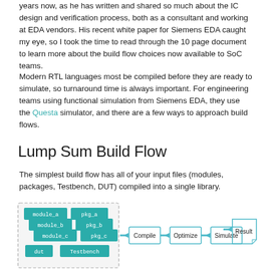years now, as he has written and shared so much about the IC design and verification process, both as a consultant and working at EDA vendors. His recent white paper for Siemens EDA caught my eye, so I took the time to read through the 10 page document to learn more about the build flow choices now available to SoC teams.
Modern RTL languages most be compiled before they are ready to simulate, so turnaround time is always important. For engineering teams using functional simulation from Siemens EDA, they use the Questa simulator, and there are a few ways to approach build flows.
Lump Sum Build Flow
The simplest build flow has all of your input files (modules, packages, Testbench, DUT) compiled into a single library.
[Figure (flowchart): Flowchart showing Lump Sum Build Flow: stacked teal boxes labeled module_a, module_b, module_c, dut, pkg_a, pkg_b, pkg_c, Testbench feeding via arrow into Compile box, then arrow to Optimize box, then arrow to Simulate box, then arrow to Result box (with curled bottom-right corner).]